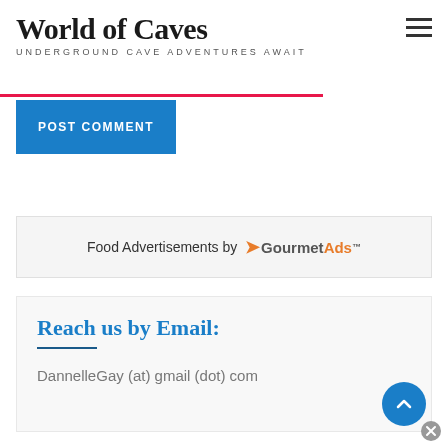World of Caves
UNDERGROUND CAVE ADVENTURES AWAIT
POST COMMENT
[Figure (logo): Food Advertisements by GourmetAds logo]
Reach us by Email:
DannelleGay (at) gmail (dot) com